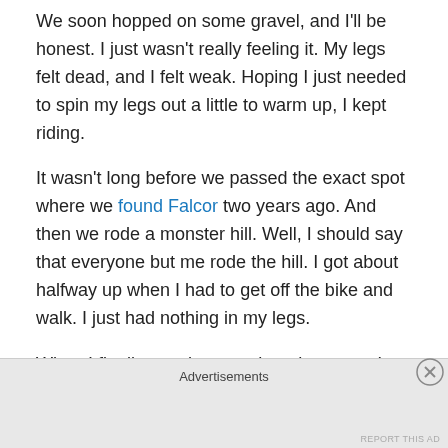We soon hopped on some gravel, and I'll be honest.  I just wasn't really feeling it.  My legs felt dead, and I felt weak.  Hoping I just needed to spin my legs out a little to warm up, I kept riding.
It wasn't long before we passed the exact spot where we found Falcor two years ago.  And then we rode a monster hill.  Well, I should say that everyone but me rode the hill.  I got about halfway up when I had to get off the bike and walk.  I just had nothing in my legs.
When I finally caught up to the other guys, I told them I might just turn around.  I didn't want to slow them down.  They talked me into at least continuing until we reached
Advertisements